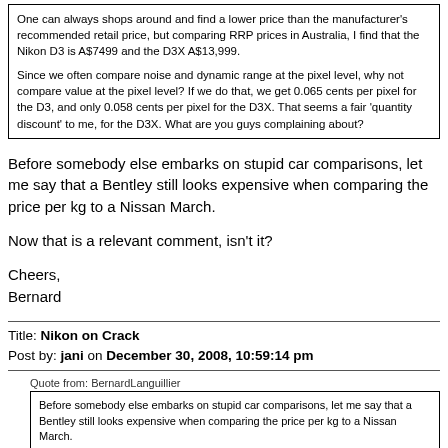One can always shops around and find a lower price than the manufacturer's recommended retail price, but comparing RRP prices in Australia, I find that the Nikon D3 is A$7499 and the D3X A$13,999.

Since we often compare noise and dynamic range at the pixel level, why not compare value at the pixel level? If we do that, we get 0.065 cents per pixel for the D3, and only 0.058 cents per pixel for the D3X. That seems a fair 'quantity discount' to me, for the D3X. What are you guys complaining about?
Before somebody else embarks on stupid car comparisons, let me say that a Bentley still looks expensive when comparing the price per kg to a Nissan March.
Now that is a relevant comment, isn't it?
Cheers,
Bernard
Title: Nikon on Crack
Post by: jani on December 30, 2008, 10:59:14 pm
Quote from: BernardLanguillier
Before somebody else embarks on stupid car comparisons, let me say that a Bentley still looks expensive when comparing the price per kg to a Nissan March.

Now that is a relevant comment, isn't it?
No, because the Bentley is much more FUN.
[!--quoteo(post=0:date=:name=Jeremy Clarkson of Top Gear)--][div class=\'quotetop\']QUOTE (Jeremy Clarkson of Top Gear)